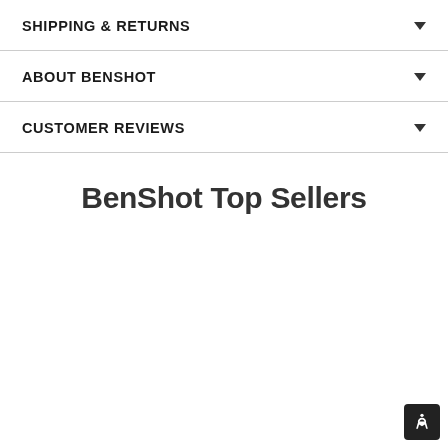SHIPPING & RETURNS
ABOUT BENSHOT
CUSTOMER REVIEWS
BenShot Top Sellers